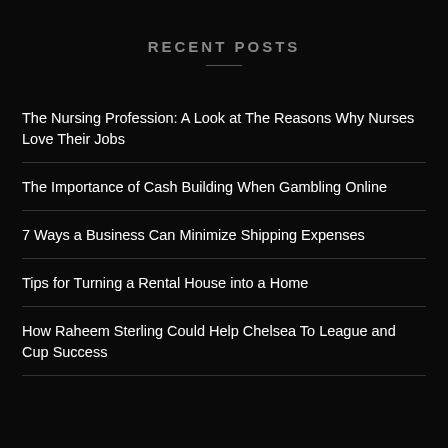RECENT POSTS
The Nursing Profession: A Look at The Reasons Why Nurses Love Their Jobs
The Importance of Cash Building When Gambling Online
7 Ways a Business Can Minimize Shipping Expenses
Tips for Turning a Rental House into a Home
How Raheem Sterling Could Help Chelsea To League and Cup Success